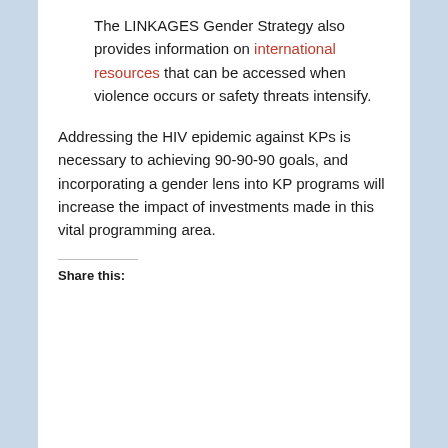The LINKAGES Gender Strategy also provides information on international resources that can be accessed when violence occurs or safety threats intensify.
Addressing the HIV epidemic against KPs is necessary to achieving 90-90-90 goals, and incorporating a gender lens into KP programs will increase the impact of investments made in this vital programming area.
Share this: